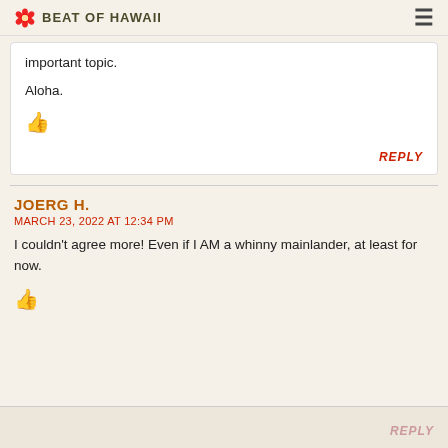BEAT OF HAWAII
important topic.
Aloha.
REPLY
JOERG H.
MARCH 23, 2022 AT 12:34 PM
I couldn't agree more! Even if I AM a whinny mainlander, at least for now.
REPLY